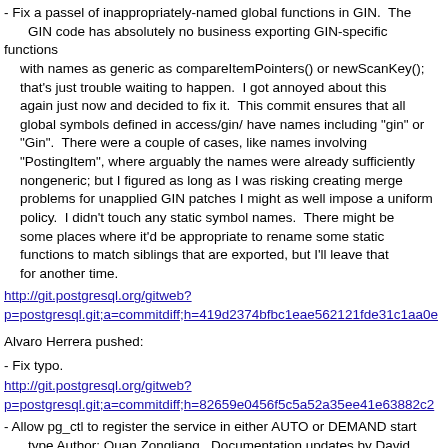- Fix a passel of inappropriately-named global functions in GIN.  The GIN code has absolutely no business exporting GIN-specific functions
  with names as generic as compareItemPointers() or newScanKey(); that's just trouble waiting to happen.  I got annoyed about this again just now and decided to fix it.  This commit ensures that all global symbols defined in access/gin/ have names including "gin" or "Gin".  There were a couple of cases, like names involving "PostingItem", where arguably the names were already sufficiently nongeneric; but I figured as long as I was risking creating merge problems for unapplied GIN patches I might as well impose a uniform policy.  I didn't touch any static symbol names.  There might be some places where it'd be appropriate to rename some static functions to match siblings that are exported, but I'll leave that for another time.
http://git.postgresql.org/gitweb?p=postgresql.git;a=commitdiff;h=419d2374bfbc1eae562121fde31c1aa0e...
Alvaro Herrera pushed:
- Fix typo.
http://git.postgresql.org/gitweb?p=postgresql.git;a=commitdiff;h=82659e0456f5c5a52a35ee41e63882c2...
- Allow pg_ctl to register the service in either AUTO or DEMAND start type Author: Quan Zongliang.  Documentation updates by David Fetter
http://git.postgresql.org/gitweb?